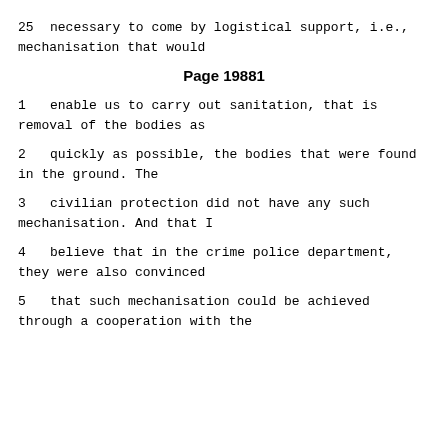25      necessary to come by logistical support, i.e., mechanisation that would
Page 19881
1      enable us to carry out sanitation, that is removal of the bodies as
2      quickly as possible, the bodies that were found in the ground.  The
3      civilian protection did not have any such mechanisation.  And that I
4      believe that in the crime police department, they were also convinced
5      that such mechanisation could be achieved through a cooperation with the